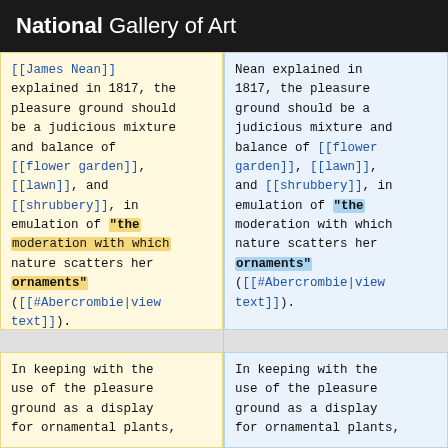National Gallery of Art
[[James Nean]] explained in 1817, the pleasure ground should be a judicious mixture and balance of [[flower garden]], [[lawn]], and [[shrubbery]], in emulation of "the moderation with which nature scatters her ornaments" ([[#Abercrombie|view text]]).
Nean explained in 1817, the pleasure ground should be a judicious mixture and balance of [[flower garden]], [[lawn]], and [[shrubbery]], in emulation of "the moderation with which nature scatters her ornaments" ([[#Abercrombie|view text]]).
In keeping with the use of the pleasure ground as a display for ornamental plants,
In keeping with the use of the pleasure ground as a display for ornamental plants,